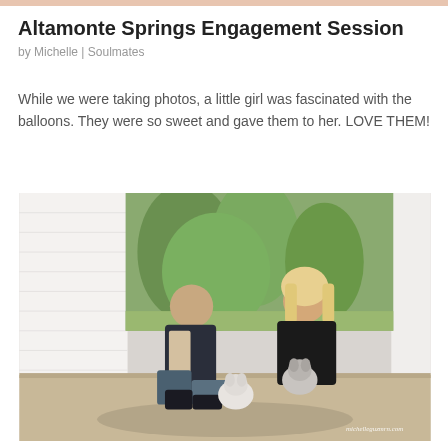Altamonte Springs Engagement Session
by Michelle | Soulmates
While we were taking photos, a little girl was fascinated with the balloons. They were so sweet and gave them to her. LOVE THEM!
[Figure (photo): A couple sitting on the ground against a white siding wall with two small dogs (Chihuahuas). The man wears a dark blazer and jeans, the woman has blonde hair and a black lace outfit. Watermark reads michelleguzmrn.com]